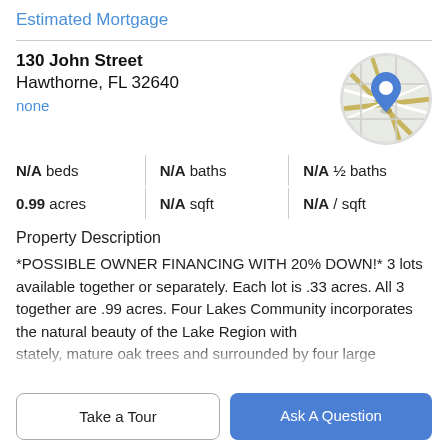Estimated Mortgage
130 John Street
Hawthorne, FL 32640
none
[Figure (map): Circular map thumbnail showing a location pin marker on a street map]
N/A beds | N/A baths | N/A ½ baths | 0.99 acres | N/A sqft | N/A / sqft
Property Description
*POSSIBLE OWNER FINANCING WITH 20% DOWN!* 3 lots available together or separately. Each lot is .33 acres. All 3 together are .99 acres. Four Lakes Community incorporates the natural beauty of the Lake Region with stately, mature oak trees and surrounded by four large
Take a Tour
Ask A Question